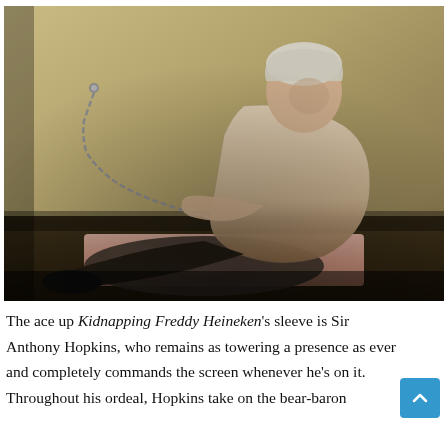[Figure (photo): An older man with silver-white hair wearing patterned pajamas sits on a mattress on the floor in a sparse, dim room with yellowish walls. He holds a chain attached to a bolt on the wall. The scene depicts captivity.]
The ace up Kidnapping Freddy Heineken's sleeve is Sir Anthony Hopkins, who remains as towering a presence as ever and completely commands the screen whenever he's on it. Throughout his ordeal, Hopkins take on the bear-baron